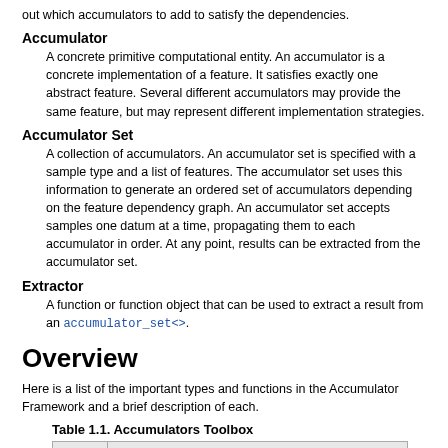out which accumulators to add to satisfy the dependencies.
Accumulator
A concrete primitive computational entity. An accumulator is a concrete implementation of a feature. It satisfies exactly one abstract feature. Several different accumulators may provide the same feature, but may represent different implementation strategies.
Accumulator Set
A collection of accumulators. An accumulator set is specified with a sample type and a list of features. The accumulator set uses this information to generate an ordered set of accumulators depending on the feature dependency graph. An accumulator set accepts samples one datum at a time, propagating them to each accumulator in order. At any point, results can be extracted from the accumulator set.
Extractor
A function or function object that can be used to extract a result from an accumulator_set<>.
Overview
Here is a list of the important types and functions in the Accumulator Framework and a brief description of each.
Table 1.1. Accumulators Toolbox
| Tool | Description |
| --- | --- |
|  | This is the most important type in the... |